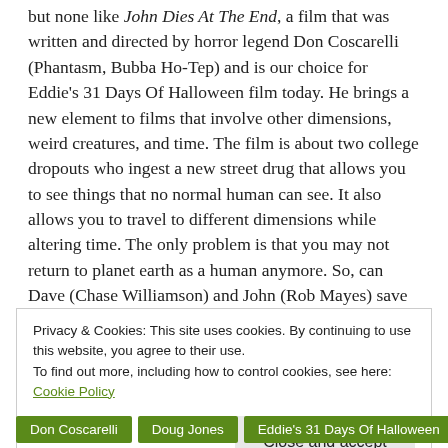but none like John Dies At The End, a film that was written and directed by horror legend Don Coscarelli (Phantasm, Bubba Ho-Tep) and is our choice for Eddie's 31 Days Of Halloween film today. He brings a new element to films that involve other dimensions, weird creatures, and time. The film is about two college dropouts who ingest a new street drug that allows you to see things that no normal human can see. It also allows you to travel to different dimensions while altering time. The only problem is that you may not return to planet earth as a human anymore. So, can Dave (Chase Williamson) and John (Rob Mayes) save the world from this silent, but deadly creatures? The film also stars Paul Giamatti (Private Parts), Glynn Turman (Gremlins), Daniel Roebuck (The Lords of Salem), Clancy Brown (The Shawshank Redemption), and Doug Jones (Hellboy). To see the rest of the review, please click here to go to Moshpits and Movies.
Privacy & Cookies: This site uses cookies. By continuing to use this website, you agree to their use.
To find out more, including how to control cookies, see here: Cookie Policy
Close and accept
Don Coscarelli
Doug Jones
Eddie's 31 Days Of Halloween